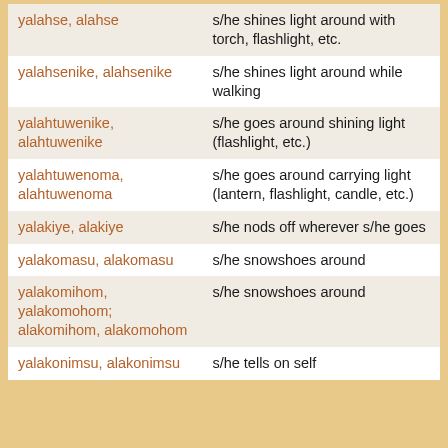| Term | Definition |
| --- | --- |
| yalahse, alahse | s/he shines light around with torch, flashlight, etc. |
| yalahsenike, alahsenike | s/he shines light around while walking |
| yalahtuwenike, alahtuwenike | s/he goes around shining light (flashlight, etc.) |
| yalahtuwenoma, alahtuwenoma | s/he goes around carrying light (lantern, flashlight, candle, etc.) |
| yalakiye, alakiye | s/he nods off wherever s/he goes |
| yalakomasu, alakomasu | s/he snowshoes around |
| yalakomihom, yalakomohom; alakomihom, alakomohom | s/he snowshoes around |
| yalakonimsu, alakonimsu | s/he tells on self |